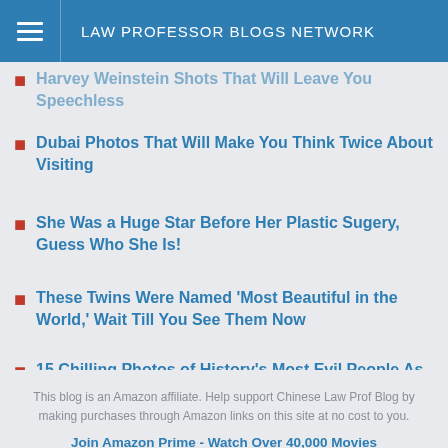LAW PROFESSOR BLOGS NETWORK
Harvey Weinstein Shots That Will Leave You Speechless
Dubai Photos That Will Make You Think Twice About Visiting
She Was a Huge Star Before Her Plastic Sugery, Guess Who She Is!
These Twins Were Named 'Most Beautiful in the World,' Wait Till You See Them Now
15 Chilling Photos of History's Most Evil People As Kids
This blog is an Amazon affiliate. Help support Chinese Law Prof Blog by making purchases through Amazon links on this site at no cost to you.
Join Amazon Prime - Watch Over 40,000 Movies
Recent Comments